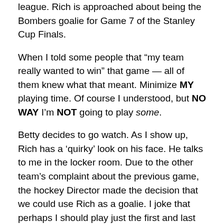league.  Rich is approached about being the Bombers goalie for Game 7 of the Stanley Cup Finals.
When I told some people that “my team really wanted to win” that game — all of them knew what that meant.  Minimize MY playing time.  Of course I understood, but NO WAY I’m NOT going to play some.
Betty decides to go watch.  As I show up, Rich has a ‘quirky’ look on his face.  He talks to me in the locker room.  Due to the other team’s complaint about the previous game, the hockey Director made the decision that we could use Rich as a goalie.  I joke that perhaps I should play just the first and last minutes.  We’ll see…
Things are, predictably, as ‘charged’ as you’d expect.  More people in the stands, maybe 35, or more.  I’m sitting glumly in our box.  Glum because if the game is close, I